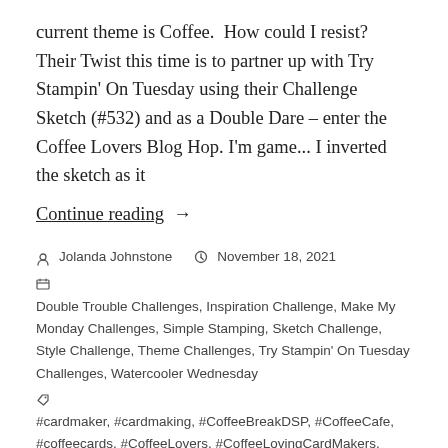current theme is Coffee.  How could I resist? Their Twist this time is to partner up with Try Stampin' On Tuesday using their Challenge Sketch (#532) and as a Double Dare – enter the Coffee Lovers Blog Hop. I'm game... I inverted the sketch as it
Continue reading →
Jolanda Johnstone   November 18, 2021
Double Trouble Challenges, Inspiration Challenge, Make My Monday Challenges, Simple Stamping, Sketch Challenge, Style Challenge, Theme Challenges, Try Stampin' On Tuesday Challenges, Watercooler Wednesday
#cardmaker, #cardmaking, #CoffeeBreakDSP, #CoffeeCafe, #coffeecards, #CoffeeLovers, #CoffeeLovingCardMakers, #DetailedTrioPunch, #diycards, #DoubleTroubleChallenges, #DTC97A, #embossing, #fallwinter2021clh, #friendshipcards, #greetingcards, #handmade, #handmadecards, #jaroflove